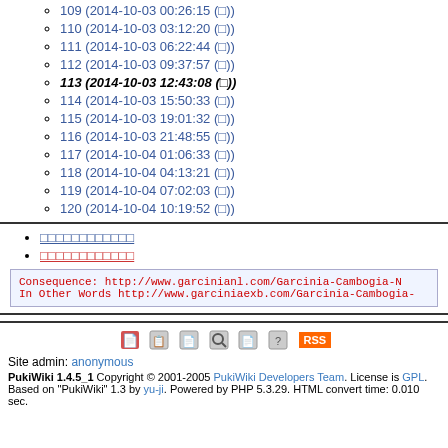109 (2014-10-03 00:26:15 (□))
110 (2014-10-03 03:12:20 (□))
111 (2014-10-03 06:22:44 (□))
112 (2014-10-03 09:37:57 (□))
113 (2014-10-03 12:43:08 (□))
114 (2014-10-03 15:50:33 (□))
115 (2014-10-03 19:01:32 (□))
116 (2014-10-03 21:48:55 (□))
117 (2014-10-04 01:06:33 (□))
118 (2014-10-04 04:13:21 (□))
119 (2014-10-04 07:02:03 (□))
120 (2014-10-04 10:19:52 (□))
□□□□□□□□□□□□
□□□□□□□□□□□□
Consequence: http://www.garcinianl.com/Garcinia-Cambogia-N
In Other Words http://www.garciniaexb.com/Garcinia-Cambogia-
Site admin: anonymous
PukiWiki 1.4.5_1 Copyright © 2001-2005 PukiWiki Developers Team. License is GPL.
Based on "PukiWiki" 1.3 by yu-ji. Powered by PHP 5.3.29. HTML convert time: 0.010 sec.